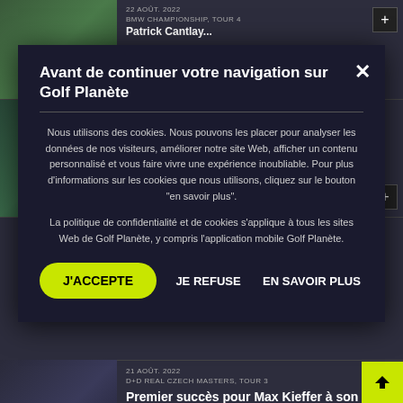[Figure (screenshot): Golf Planète website background with news articles about BMW Championship and Rory McIlroy, dimmed behind cookie consent overlay]
Avant de continuer votre navigation sur Golf Planète
Nous utilisons des cookies. Nous pouvons les placer pour analyser les données de nos visiteurs, améliorer notre site Web, afficher un contenu personnalisé et vous faire vivre une expérience inoubliable. Pour plus d'informations sur les cookies que nous utilisons, cliquez sur le bouton "en savoir plus".
La politique de confidentialité et de cookies s'applique à tous les sites Web de Golf Planète, y compris l'application mobile Golf Planète.
J'ACCEPTE
JE REFUSE
EN SAVOIR PLUS
21 AOÛT. 2022
QUAND MCILROY FÂCHÉ...
Rory McIlroy perturbé par une balle... télécommandée !
21 AOÛT. 2022
D+D REAL CZECH MASTERS, TOUR 3
Premier succès pour Max Kieffer à son 249e départ...